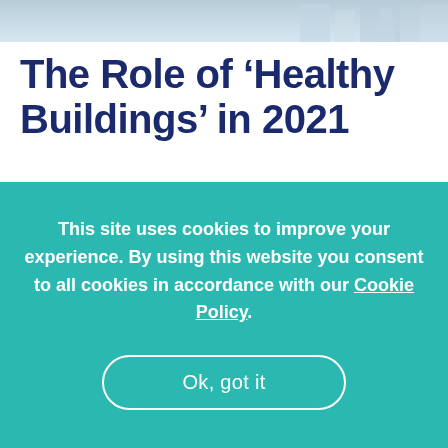[Figure (photo): Partial photo of a building interior or exterior, light blue/grey tones, cropped strip at top of page]
The Role of 'Healthy Buildings' in 2021
This site uses cookies to improve your experience. By using this website you consent to all cookies in accordance with our Cookie Policy.
Ok, got it